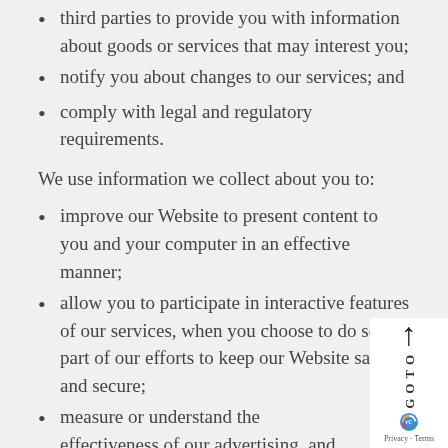third parties to provide you with information about goods or services that may interest you;
notify you about changes to our services; and
comply with legal and regulatory requirements.
We use information we collect about you to:
improve our Website to present content to you and your computer in an effective manner;
allow you to participate in interactive features of our services, when you choose to do so as part of our efforts to keep our Website safe and secure;
measure or understand the effectiveness of our advertising, and to deliver relevant advertising to you; and
provide or permit third parties to provide targeted advertising via websites you visit about goods or services that you may find interesting (see Ad Tech section and Cookie Policy)